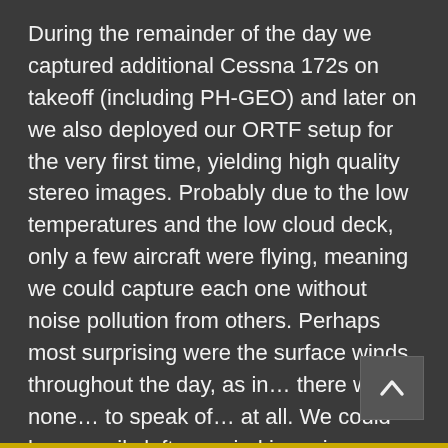During the remainder of the day we captured additional Cessna 172s on takeoff (including PH-GEO) and later on we also deployed our ORTF setup for the very first time, yielding high quality stereo images. Probably due to the low temperatures and the low cloud deck, only a few aircraft were flying, meaning we could capture each one without noise pollution from others. Perhaps most surprising were the surface winds throughout the day, as in… there were none… to speak of… at all. We could have easily left our wind jamming equipment at home.
All in all it was a superb day for recording. The equipment held up great despite the environmental conditions. And last but not least we were in good company!